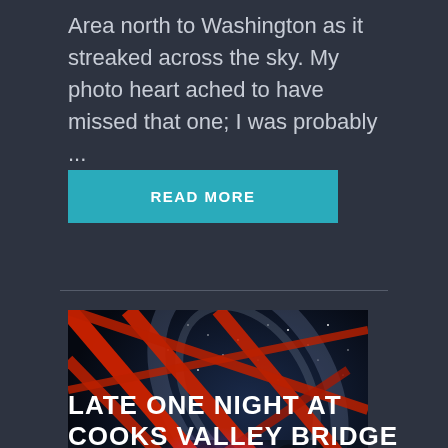Area north to Washington as it streaked across the sky. My photo heart ached to have missed that one; I was probably ...
READ MORE
[Figure (photo): Night sky photograph taken from under a red metal bridge structure. A person stands illuminated in purple light on the bridge deck while the Milky Way is visible through the bridge's geometric red steel beams overhead. Trees are visible in the background.]
LATE ONE NIGHT AT COOKS VALLEY BRIDGE